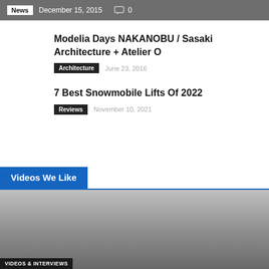News   December 15, 2015   0
Modelia Days NAKANOBU / Sasaki Architecture + Atelier O
Architecture   June 23, 2016
7 Best Snowmobile Lifts Of 2022
Reviews   November 10, 2021
Videos We Like
[Figure (screenshot): A video thumbnail image showing a dark gray gradient background with a 'VIDEOS & INTERVIEWS' label at the bottom left.]